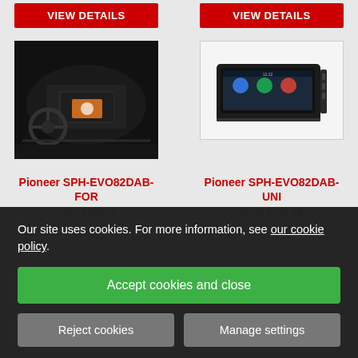[Figure (screenshot): Two red 'View details' buttons at the top of a product listing page]
[Figure (photo): Pioneer car stereo dashboard installation photo (left product)]
[Figure (photo): Pioneer SPH-EVO82DAB-UNI car stereo unit product photo (right)]
Pioneer SPH-EVO82DAB-FOR
Pioneer SPH-EVO82DAB-UNI
From £799.99
From £749.99
Our site uses cookies. For more information, see our cookie policy.
Accept cookies and close
Reject cookies
Manage settings